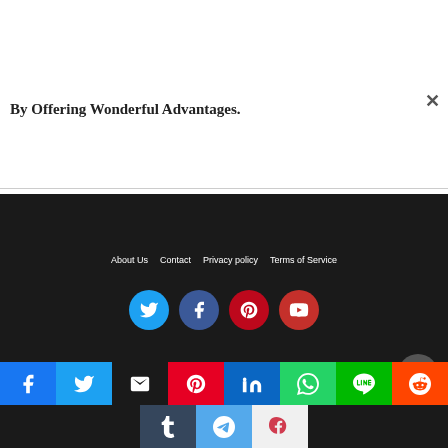By Offering Wonderful Advantages.
About Us  Contact  Privacy policy  Terms of Service
[Figure (other): Social media circular icon buttons: Twitter (blue), Facebook (dark blue), Pinterest (red), YouTube (red)]
[Figure (other): Share bar with social media buttons: Facebook, Twitter, Email, Pinterest, LinkedIn, WhatsApp, Line, Reddit, Tumblr, Telegram, Pocket]
[Figure (other): Scroll to top button (dark circle with upward triangle)]